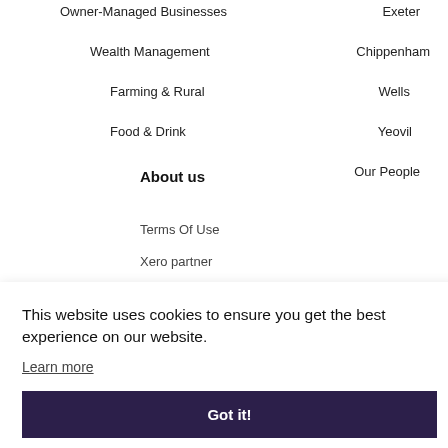Owner-Managed Businesses
Wealth Management
Farming & Rural
Food & Drink
Exeter
Chippenham
Wells
Yeovil
Our People
About us
Terms Of Use
Xero partner
This website uses cookies to ensure you get the best experience on our website.
Learn more
Got it!
Chartered